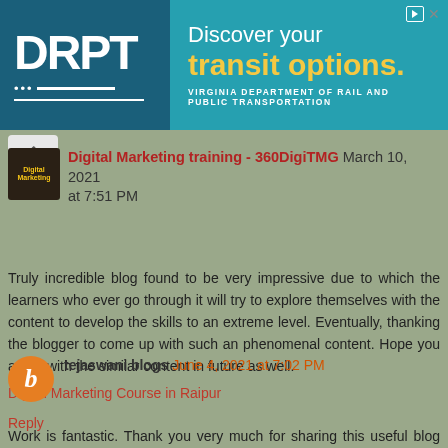[Figure (other): DRPT advertisement banner - Discover your transit options. Virginia Department of Rail and Public Transportation.]
Digital Marketing training - 360DigiTMG March 10, 2021 at 7:51 PM
Truly incredible blog found to be very impressive due to which the learners who ever go through it will try to explore themselves with the content to develop the skills to an extreme level. Eventually, thanking the blogger to come up with such an phenomenal content. Hope you arrive with the similar content in future as well.
Digital Marketing Course in Raipur
Reply
tejaswani blogs June 4, 2021 at 7:02 PM
Work is fantastic. Thank you very much for sharing this useful blog with us. My problem has been solved.